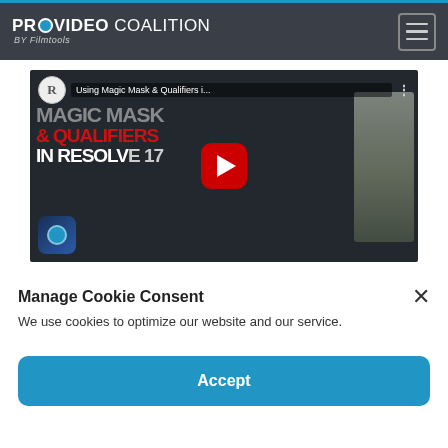PROVIDEO COALITION BY Filmtools
[Figure (screenshot): YouTube video thumbnail for 'Using Magic Mask & Qualifiers i...' showing text MAGIC MASK & QUALIFIERS IN RESOLVE 17 with a woman running on the right side, red play button in center, DaVinci Resolve app icon bottom left]
Manage Cookie Consent
We use cookies to optimize our website and our service.
Accept